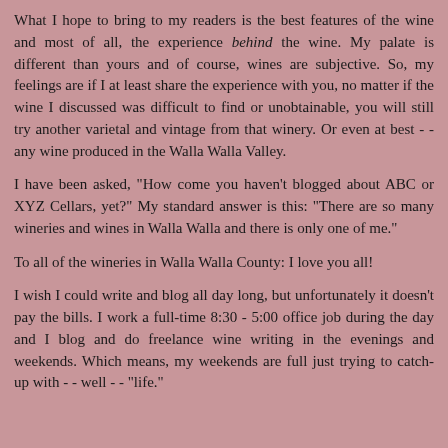What I hope to bring to my readers is the best features of the wine and most of all, the experience behind the wine. My palate is different than yours and of course, wines are subjective. So, my feelings are if I at least share the experience with you, no matter if the wine I discussed was difficult to find or unobtainable, you will still try another varietal and vintage from that winery. Or even at best - - any wine produced in the Walla Walla Valley.
I have been asked, "How come you haven't blogged about ABC or XYZ Cellars, yet?" My standard answer is this: "There are so many wineries and wines in Walla Walla and there is only one of me."
To all of the wineries in Walla Walla County: I love you all!
I wish I could write and blog all day long, but unfortunately it doesn't pay the bills. I work a full-time 8:30 - 5:00 office job during the day and I blog and do freelance wine writing in the evenings and weekends. Which means, my weekends are full just trying to catch-up with - - well - - "life."